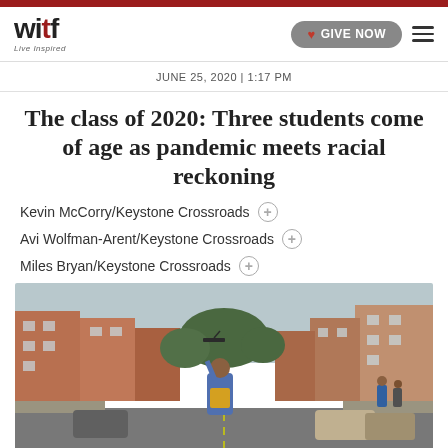witf Live Inspired
JUNE 25, 2020 | 1:17 PM
The class of 2020: Three students come of age as pandemic meets racial reckoning
Kevin McCorry/Keystone Crossroads
Avi Wolfman-Arent/Keystone Crossroads
Miles Bryan/Keystone Crossroads
[Figure (photo): A graduating student in blue graduation gown and yellow dress throws their mortarboard cap in the air on a city street lined with row houses, cars parked on both sides, and trees in the background.]